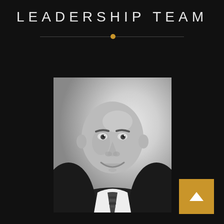LEADERSHIP TEAM
[Figure (photo): Black and white professional headshot of a bald man in a dark suit and patterned tie, smiling, with a light gradient background]